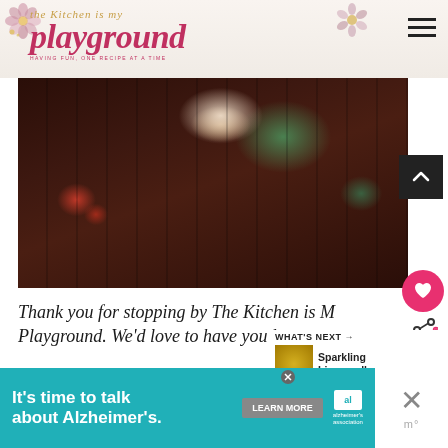the Kitchen is my playground — HAVING FUN, ONE RECIPE AT A TIME
[Figure (photo): Close-up food/drink photo on dark wooden background with a pink/red drink bowl, mint leaves, and a red cherry]
Thank you for stopping by The Kitchen is My Playground. We'd love to have you b...
WHAT'S NEXT → Sparkling Limoncello...
[Figure (photo): Small thumbnail of Sparkling Limoncello recipe]
It's time to talk about Alzheimer's. LEARN MORE